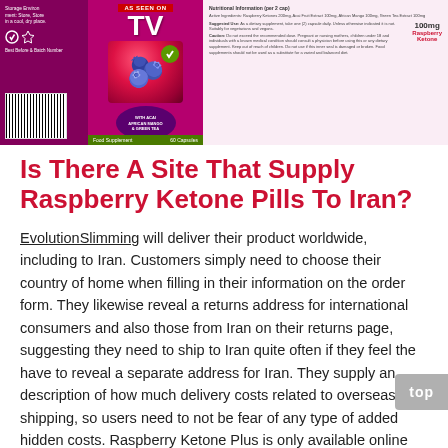[Figure (photo): Product image of Raspberry Ketone Plus supplement packaging with raspberries, TV logo, barcode, and nutritional info panel on white/purple background]
Is There A Site That Supply Raspberry Ketone Pills To Iran?
EvolutionSlimming will deliver their product worldwide, including to Iran. Customers simply need to choose their country of home when filling in their information on the order form. They likewise reveal a returns address for international consumers and also those from Iran on their returns page, suggesting they need to ship to Iran quite often if they feel the have to reveal a separate address for Iran. They supply an description of how much delivery costs related to overseas shipping, so users need to not be fear of any type of added hidden costs. Raspberry Ketone Plus is only available online